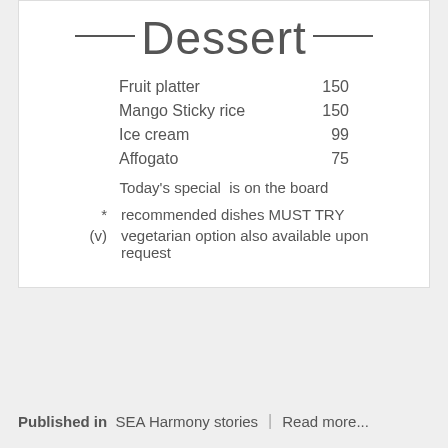——Dessert——
| Fruit platter | 150 |
| Mango Sticky rice | 150 |
| Ice cream | 99 |
| Affogato | 75 |
Today's special  is on the board
*        recommended dishes MUST TRY
(v)      vegetarian option also available upon request
Published in  SEA Harmony stories  |  Read more...